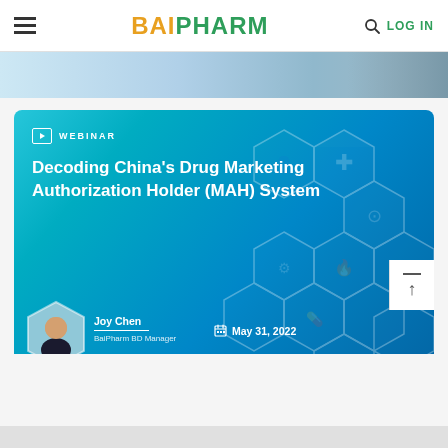BAIPHARM — LOG IN
[Figure (screenshot): BaiPharm website header with hamburger menu, logo, search icon and LOG IN link]
[Figure (illustration): Partial banner image with medical/pharmaceutical imagery]
[Figure (infographic): Webinar promotional card with teal-to-blue gradient background, hexagonal medical icons overlay, speaker photo of Joy Chen, title 'Decoding China's Drug Marketing Authorization Holder (MAH) System', date May 31 2022, Register Now button]
Decoding China's Drug Marketing Authorization Holder (MAH) System
WEBINAR
Joy Chen
BaiPharm BD Manager
May 31, 2022